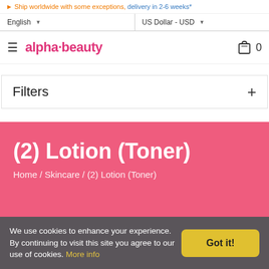Ship worldwide with some exceptions, delivery in 2-6 weeks*
English ▾   US Dollar - USD ▾
[Figure (logo): Alpha Beauty logo with hamburger menu and shopping bag icon showing 0 items]
Filters +
(2) Lotion (Toner)
Home / Skincare / (2) Lotion (Toner)
We use cookies to enhance your experience. By continuing to visit this site you agree to our use of cookies. More info  Got it!